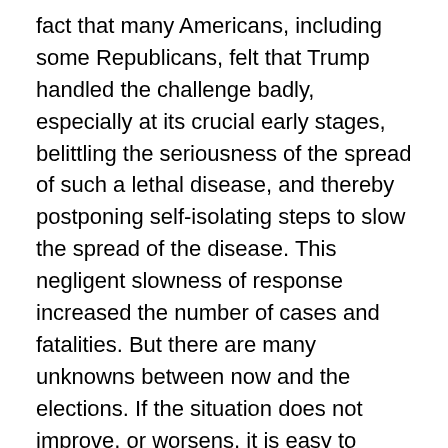fact that many Americans, including some Republicans, felt that Trump handled the challenge badly, especially at its crucial early stages, belittling the seriousness of the spread of such a lethal disease, and thereby postponing self-isolating steps to slow the spread of the disease. This negligent slowness of response increased the number of cases and fatalities. But there are many unknowns between now and the elections. If the situation does not improve, or worsens, it is easy to imagine a situation where the elections are postponed in accord with the state of emergency, while if the situation unexpectedly improves, Trump might easily win reelection, especially if opposed by such a weak candidate as Joe Biden.
6. What do you know about the most important international developments in Europe, America, Asia and the Middle East over the past year?